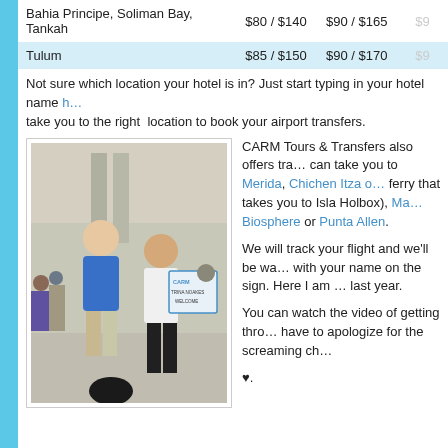| Location | Price 1 | Price 2 | Price 3 |
| --- | --- | --- | --- |
| Bahia Principe, Soliman Bay, Tankah | $80 / $140 | $90 / $165 | $9… |
| Tulum | $85 / $150 | $90 / $170 | $9… |
Not sure which location your hotel is in? Just start typing in your hotel name h… take you to the right location to book your airport transfers.
[Figure (photo): Photo of a woman in blue shirt posing with an older man holding a CARM sign reading 'TRINA NOAKES WELCOME', taken at an airport.]
CARM Tours & Transfers also offers tra… can take you to Merida, Chichen Itza o… ferry that takes you to Isla Holbox), Ma… Biosphere or Punta Allen. We will track your flight and we'll be wa… with your name on the sign. Here I am … last year. You can watch the video of getting thro… have to apologize for the screaming ch… ♥.